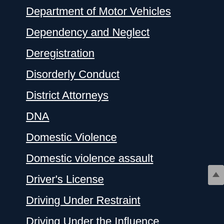Department of Motor Vehicles
Dependency and Neglect
Deregistration
Disorderly Conduct
District Attorneys
DNA
Domestic Violence
Domestic violence assault
Driver's License
Driving Under Restraint
Driving Under the Influence
Drug